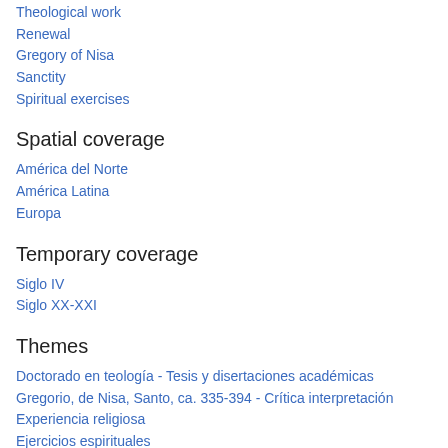Theological work
Renewal
Gregory of Nisa
Sanctity
Spiritual exercises
Spatial coverage
América del Norte
América Latina
Europa
Temporary coverage
Siglo IV
Siglo XX-XXI
Themes
Doctorado en teología - Tesis y disertaciones académicas
Gregorio, de Nisa, Santo, ca. 335-394 - Crítica interpretación
Experiencia religiosa
Ejercicios espirituales